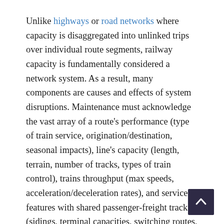Unlike highways or road networks where capacity is disaggregated into unlinked trips over individual route segments, railway capacity is fundamentally considered a network system. As a result, many components are causes and effects of system disruptions. Maintenance must acknowledge the vast array of a route's performance (type of train service, origination/destination, seasonal impacts), line's capacity (length, terrain, number of tracks, types of train control), trains throughput (max speeds, acceleration/deceleration rates), and service features with shared passenger-freight tracks (sidings, terminal capacities, switching routes, and design type).[60]